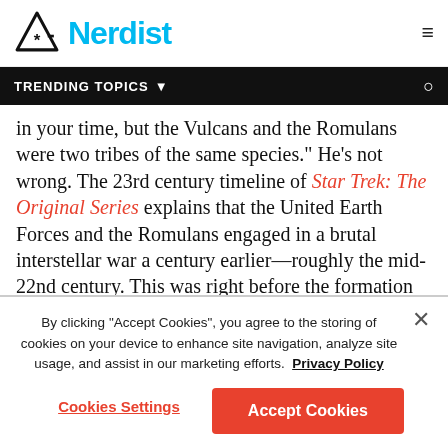Nerdist
TRENDING TOPICS
in your time, but the Vulcans and the Romulans were two tribes of the same species." He's not wrong. The 23rd century timeline of Star Trek: The Original Series explains that the United Earth Forces and the Romulans engaged in a brutal interstellar war a century earlier—roughly the mid-22nd century. This was right before the formation of the Federation. But the humans who fought in the Romulan Wars had no idea what the Romulans even
By clicking "Accept Cookies", you agree to the storing of cookies on your device to enhance site navigation, analyze site usage, and assist in our marketing efforts. Privacy Policy
Cookies Settings
Accept Cookies